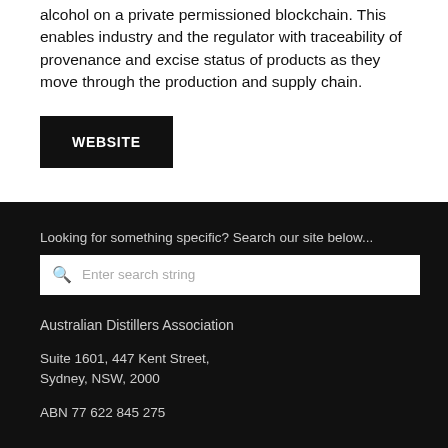alcohol on a private permissioned blockchain. This enables industry and the regulator with traceability of provenance and excise status of products as they move through the production and supply chain.
WEBSITE
Looking for something specific? Search our site below...
Enter search string
Australian Distillers Association
Suite 1601, 447 Kent Street,
Sydney, NSW, 2000
ABN 77 622 845 275